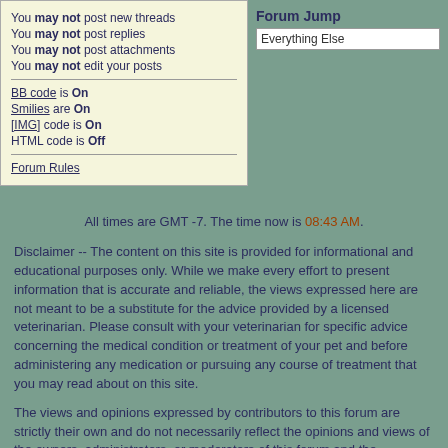You may not post new threads
You may not post replies
You may not post attachments
You may not edit your posts
BB code is On
Smilies are On
[IMG] code is On
HTML code is Off
Forum Rules
Forum Jump
Everything Else
All times are GMT -7. The time now is 08:43 AM.
Disclaimer -- The content on this site is provided for informational and educational purposes only. While we make every effort to present information that is accurate and reliable, the views expressed here are not meant to be a substitute for the advice provided by a licensed veterinarian. Please consult with your veterinarian for specific advice concerning the medical condition or treatment of your pet and before administering any medication or pursuing any course of treatment that you may read about on this site.
The views and opinions expressed by contributors to this forum are strictly their own and do not necessarily reflect the opinions and views of the owners, administrators, or moderators of this forum and the k9diabetes.com website.
Contact Us - K9diabetes.com - Archive - Top
Powered by vBulletin® Version 3.8.5
Copyright ©2000 - 2022, Jelsoft Enterprises Ltd.
Copyright 2009, 2010 k9diabetes.com. All rights reserved.